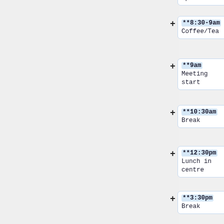April 12th
**8:30-9am Coffee/Tea
**9am Meeting start
**10:30am Break
**12:30pm Lunch in centre
**3:30pm Break
**5pm Meeting end
*Note: 2 days only.